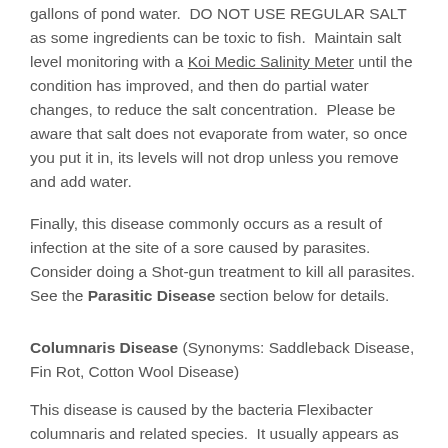gallons of pond water.  DO NOT USE REGULAR SALT as some ingredients can be toxic to fish.  Maintain salt level monitoring with a Koi Medic Salinity Meter until the condition has improved, and then do partial water changes, to reduce the salt concentration.  Please be aware that salt does not evaporate from water, so once you put it in, its levels will not drop unless you remove and add water.
Finally, this disease commonly occurs as a result of infection at the site of a sore caused by parasites. Consider doing a Shot-gun treatment to kill all parasites. See the Parasitic Disease section below for details.
Columnaris Disease (Synonyms: Saddleback Disease, Fin Rot, Cotton Wool Disease)
This disease is caused by the bacteria Flexibacter columnaris and related species.  It usually appears as